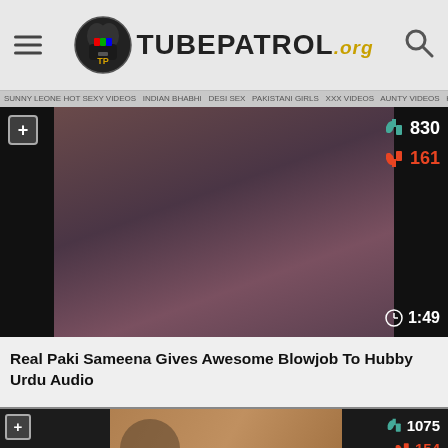TUBEPATROL.org
[Figure (screenshot): Video thumbnail showing a blurred close-up image. Overlay shows +, thumbs up 830, thumbs down 161, duration 1:49.]
Real Paki Sameena Gives Awesome Blowjob To Hubby Urdu Audio
[Figure (screenshot): Partial video thumbnail at bottom showing a person, with thumbs up 1075 and thumbs down 154 overlaid.]